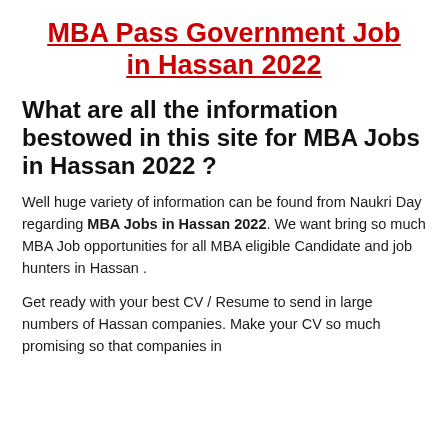MBA Pass Government Job in Hassan 2022
What are all the information bestowed in this site for MBA Jobs in Hassan 2022 ?
Well huge variety of information can be found from Naukri Day regarding MBA Jobs in Hassan 2022. We want bring so much MBA Job opportunities for all MBA eligible Candidate and job hunters in Hassan .
Get ready with your best CV / Resume to send in large numbers of Hassan companies. Make your CV so much promising so that companies in